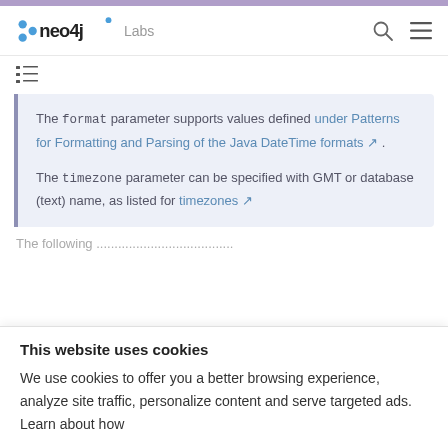neo4j Labs
The format parameter supports values defined under Patterns for Formatting and Parsing of the Java DateTime formats ↗ . The timezone parameter can be specified with GMT or database (text) name, as listed for timezones ↗
The following...
This website uses cookies
We use cookies to offer you a better browsing experience, analyze site traffic, personalize content and serve targeted ads. Learn about how